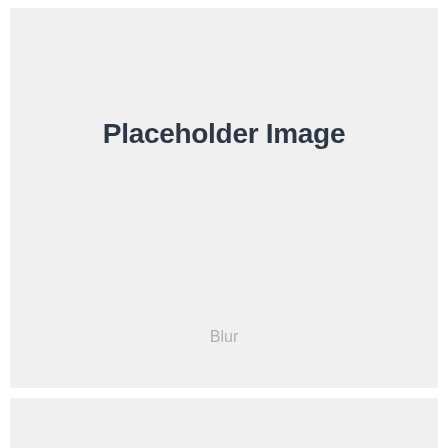[Figure (other): A placeholder image box with light gray background, containing the bold text 'Placeholder Image' near the top-center, and a light gray 'Blur' label near the bottom-center.]
[Figure (other): A second placeholder image box at the bottom of the page, partially visible, with light gray background.]